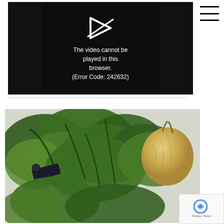[Figure (screenshot): Video player showing error message: 'The video cannot be played in this browser. (Error Code: 242632)' on black background with a broken video icon]
[Figure (photo): Photo of fresh herbs (parsley/cilantro) and a yellow onion on a light surface, with scissors visible]